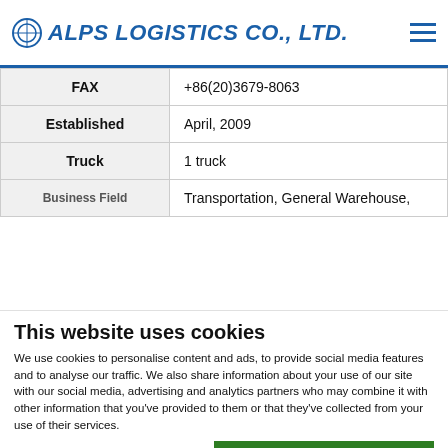ALPS LOGISTICS CO., LTD.
| FAX | +86(20)3679-8063 |
| Established | April, 2009 |
| Truck | 1 truck |
| Business Field | Transportation, General Warehouse, |
This website uses cookies
We use cookies to personalise content and ads, to provide social media features and to analyse our traffic. We also share information about your use of our site with our social media, advertising and analytics partners who may combine it with other information that you've provided to them or that they've collected from your use of their services.
Allow all cookies
Allow selection
Use necessary cookies only
Necessary  Preferences  Statistics  Marketing  Show details